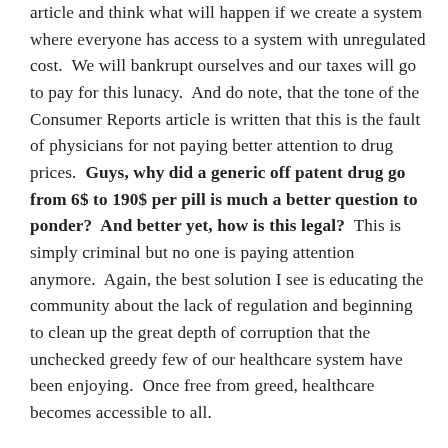article and think what will happen if we create a system where everyone has access to a system with unregulated cost.  We will bankrupt ourselves and our taxes will go to pay for this lunacy.  And do note, that the tone of the Consumer Reports article is written that this is the fault of physicians for not paying better attention to drug prices.  Guys, why did a generic off patent drug go from 6$ to 190$ per pill is much a better question to ponder?  And better yet, how is this legal?  This is simply criminal but no one is paying attention anymore.  Again, the best solution I see is educating the community about the lack of regulation and beginning to clean up the great depth of corruption that the unchecked greedy few of our healthcare system have been enjoying.  Once free from greed, healthcare becomes accessible to all.